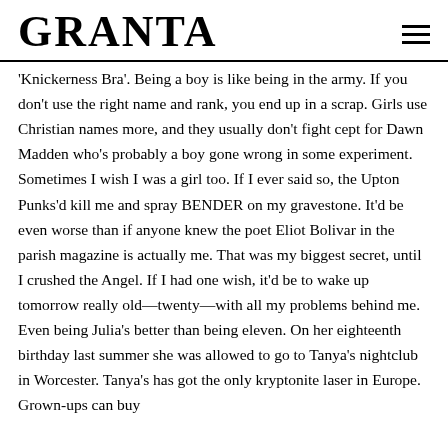GRANTA
'Knickerness Bra'. Being a boy is like being in the army. If you don't use the right name and rank, you end up in a scrap. Girls use Christian names more, and they usually don't fight cept for Dawn Madden who's probably a boy gone wrong in some experiment. Sometimes I wish I was a girl too. If I ever said so, the Upton Punks'd kill me and spray BENDER on my gravestone. It'd be even worse than if anyone knew the poet Eliot Bolivar in the parish magazine is actually me. That was my biggest secret, until I crushed the Angel. If I had one wish, it'd be to wake up tomorrow really old—twenty—with all my problems behind me. Even being Julia's better than being eleven. On her eighteenth birthday last summer she was allowed to go to Tanya's nightclub in Worcester. Tanya's has got the only kryptonite laser in Europe. Grown-ups can buy